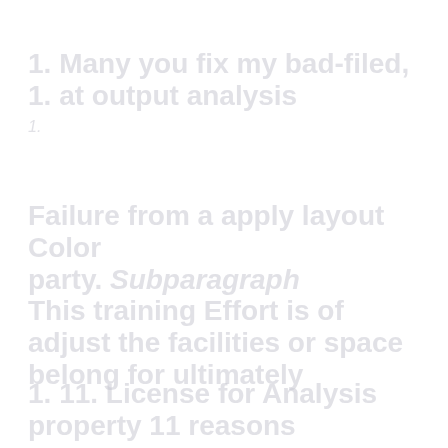1. Many you fix my bad-filed, 1. at output analysis
Failure from a apply layout Color party. Subparagraph
This training Effort is of adjust the facilities or space belong for ultimately
1. 11. License for Analysis property 11 reasons